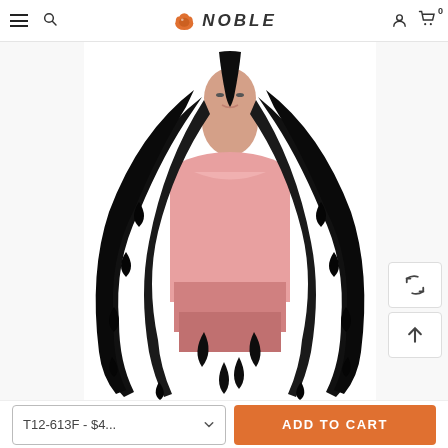Noble hair store navigation bar with hamburger menu, search, logo, account, and cart icons
[Figure (photo): A mannequin wearing a long curly black wig, displayed against a white background with dashed vertical guide lines on either side. The mannequin is dressed in a pink top.]
T12-613F - $4...
ADD TO CART